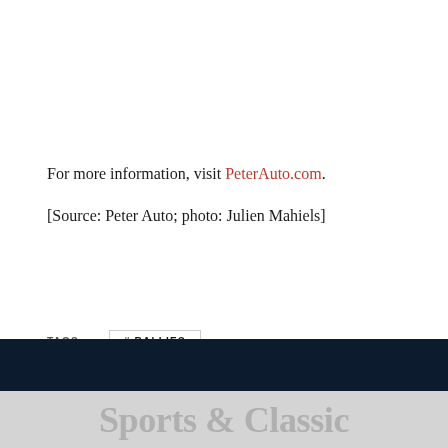For more information, visit PeterAuto.com.
[Source: Peter Auto; photo: Julien Mahiels]
TAGS  # RALLIES
Sports & Classic